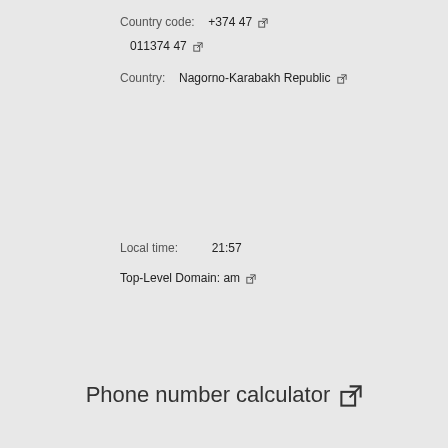Country code: +374 47
Country code: 011374 47
Country: Nagorno-Karabakh Republic
Local time: 21:57
Top-Level Domain: am
Phone number calculator